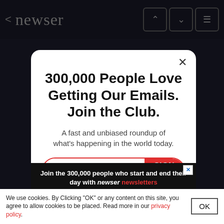< newser
300,000 People Love Getting Our Emails. Join the Club.
A fast and unbiased roundup of what's happening in the world today.
your email address  SIGN UP
Join the 300,000 people who start and end their day with newser newsletters
We use cookies. By Clicking "OK" or any content on this site, you agree to allow cookies to be placed. Read more in our privacy policy.